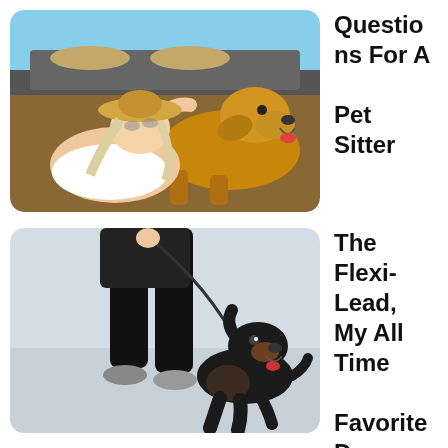[Figure (photo): A woman in a straw hat lying next to a golden Labrador dog, both near a vehicle in an outdoor setting with sunny sky.]
Questions For A Pet Sitter
[Figure (photo): A person in black clothing walking a Rottweiler on a leash on a light-colored surface, with the dog running alongside.]
The Flexi-Lead, My All Time Favorite Dog Leash